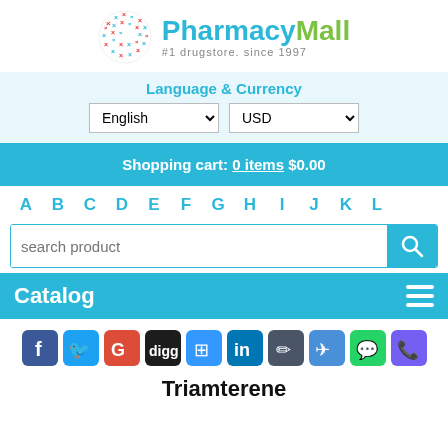[Figure (logo): PharmacyMall logo with globe icon made of red and blue X marks, brand name 'PharmacyMall' in teal and green, tagline '#1 drugstore. since 1997']
Language & Currency
English (dropdown) | USD (dropdown)
Shopping cart: 0 items $0.00
A B C D E F G H I J K L
search product
Catalog
[Figure (infographic): Row of social media icon buttons: Facebook, Twitter, Google, Digg, Delicious, LinkedIn, Pencil/Edit, Paper plane, WhatsApp, Viber]
Triamterene